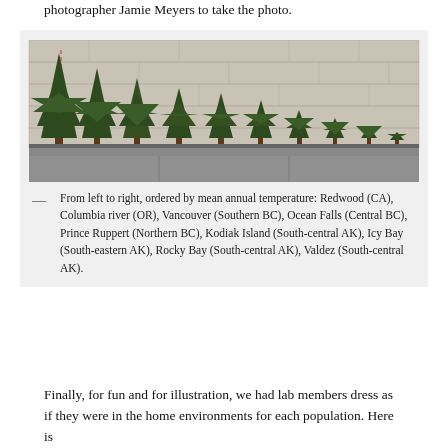photographer Jamie Meyers to take the photo.
[Figure (photo): A row of small spruce seedlings of varying heights arranged in front of a stone wall, ordered left to right by mean annual temperature of their origin location.]
— From left to right, ordered by mean annual temperature: Redwood (CA), Columbia river (OR), Vancouver (Southern BC), Ocean Falls (Central BC), Prince Ruppert (Northern BC), Kodiak Island (South-central AK), Icy Bay (South-eastern AK), Rocky Bay (South-central AK), Valdez (South-central AK).
Finally, for fun and for illustration, we had lab members dress as if they were in the home environments for each population. Here is